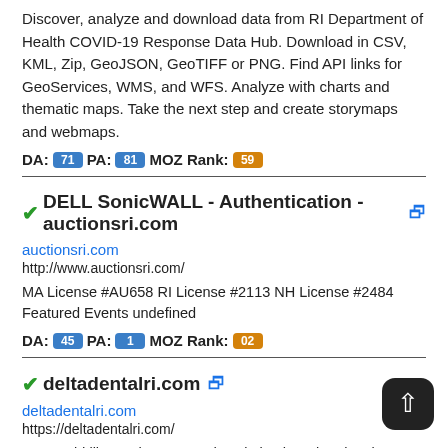Discover, analyze and download data from RI Department of Health COVID-19 Response Data Hub. Download in CSV, KML, Zip, GeoJSON, GeoTIFF or PNG. Find API links for GeoServices, WMS, and WFS. Analyze with charts and thematic maps. Take the next step and create storymaps and webmaps.
DA: 71 PA: 81 MOZ Rank: 59
DELL SonicWALL - Authentication - auctionsri.com
auctionsri.com
http://www.auctionsri.com/
MA License #AU658 RI License #2113 NH License #2484 Featured Events undefined
DA: 45 PA: 1 MOZ Rank: 02
deltadentalri.com
deltadentalri.com
https://deltadentalri.com/
We would like to show you a description here but the site won't allow us.